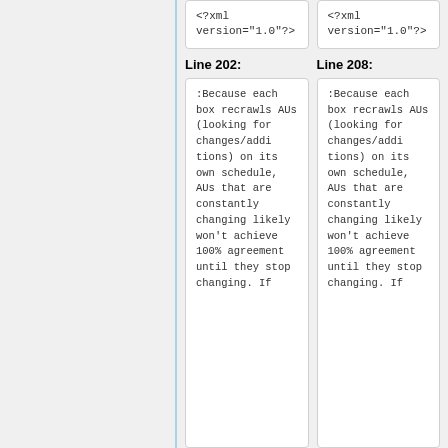<?xml version="1.0"?>
<?xml version="1.0"?>
Line 202:
Line 208:
:Because each box recrawls AUs (looking for changes/additions) on its own schedule, AUs that are constantly changing likely won't achieve 100% agreement until they stop changing. If
:Because each box recrawls AUs (looking for changes/additions) on its own schedule, AUs that are constantly changing likely won't achieve 100% agreement until they stop changing. If